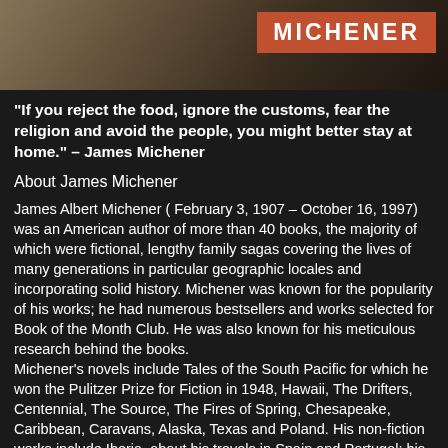[Figure (photo): Top portion of a book cover or promotional image for James Michener, with a terracotta/red banner reading 'MICHENER' in white bold uppercase letters on the right side. The left portion shows a blurred natural/figure background.]
“If you reject the food, ignore the customs, fear the religion and avoid the people, you might better stay at home.” – James Michener
About James Michener
James Albert Michener ( February 3, 1907 – October 16, 1997) was an American author of more than 40 books, the majority of which were fictional, lengthy family sagas covering the lives of many generations in particular geographic locales and incorporating solid history. Michener was known for the popularity of his works; he had numerous bestsellers and works selected for Book of the Month Club. He was also known for his meticulous research behind the books.
Michener’s novels include Tales of the South Pacific for which he won the Pulitzer Prize for Fiction in 1948, Hawaii, The Drifters, Centennial, The Source, The Fires of Spring, Chesapeake, Caribbean, Caravans, Alaska, Texas and Poland. His non-fiction works include Iberia, about his travels in Spain and Portugal; his memoir titled The World Is My Home, and Sports in America. Return to Paradise combines fictional short stories with Michener’s factual descriptions of the Pacific areas where they